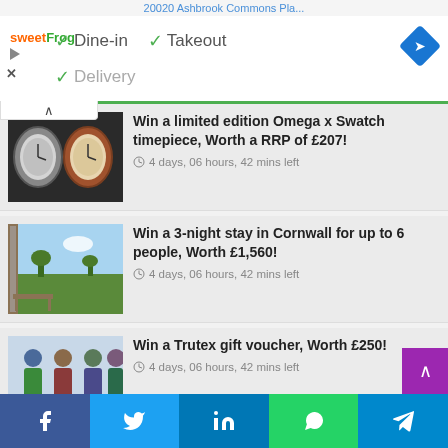20020 Ashbrook Commons Pla...
[Figure (screenshot): sweetFrog logo, navigation icons, Dine-in checkmark, Takeout checkmark, Delivery (partially visible)]
Win a limited edition Omega x Swatch timepiece, Worth a RRP of £207! — 4 days, 06 hours, 42 mins left
Win a 3-night stay in Cornwall for up to 6 people, Worth £1,560! — 4 days, 06 hours, 42 mins left
Win a Trutex gift voucher, Worth £250! — 4 days, 06 hours, 42 mins left
Facebook Twitter LinkedIn WhatsApp Telegram